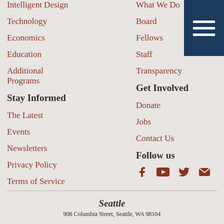Intelligent Design
Technology
Economics
Education
Additional Programs
Stay Informed
The Latest
Events
Newsletters
Privacy Policy
Terms of Service
What We Do
Board
Fellows
Staff
Transparency
Get Involved
Donate
Jobs
Contact Us
Follow us
Seattle 908 Columbia Street, Seattle, WA 98104